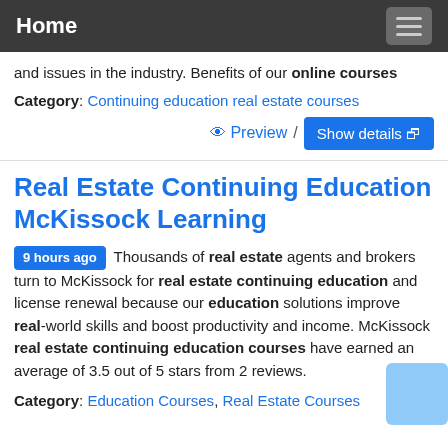Home
and issues in the industry. Benefits of our online courses
Category: Continuing education real estate courses
Preview / Show details
Real Estate Continuing Education McKissock Learning
9 hours ago Thousands of real estate agents and brokers turn to McKissock for real estate continuing education and license renewal because our education solutions improve real-world skills and boost productivity and income. McKissock real estate continuing education courses have earned an average of 3.5 out of 5 stars from 2 reviews.
Category: Education Courses, Real Estate Courses